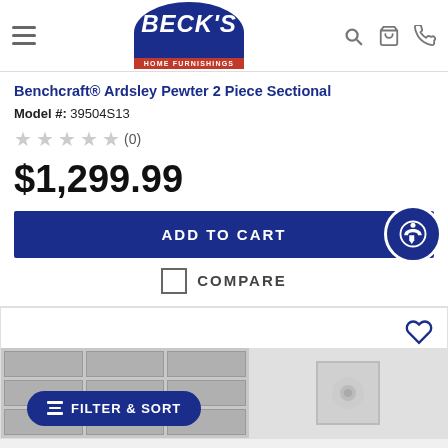Beck's Home Furnishings
Benchcraft® Ardsley Pewter 2 Piece Sectional
Model #: 39504S13
★★★★★ (0)
$1,299.99
ADD TO CART
COMPARE
[Figure (screenshot): Partial product image showing grid shelving and wall art]
FILTER & SORT